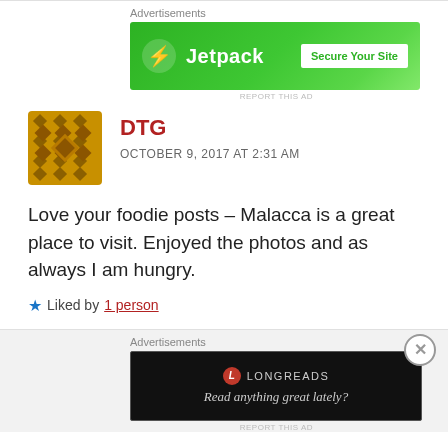[Figure (screenshot): Jetpack advertisement banner with green background, Jetpack logo and 'Secure Your Site' button]
REPORT THIS AD
[Figure (logo): DTG user avatar - brown geometric/diamond pattern icon]
DTG
OCTOBER 9, 2017 AT 2:31 AM
Love your foodie posts – Malacca is a great place to visit. Enjoyed the photos and as always I am hungry.
Liked by 1 person
[Figure (screenshot): Longreads advertisement banner with black background, Longreads logo and 'Read anything great lately?' tagline]